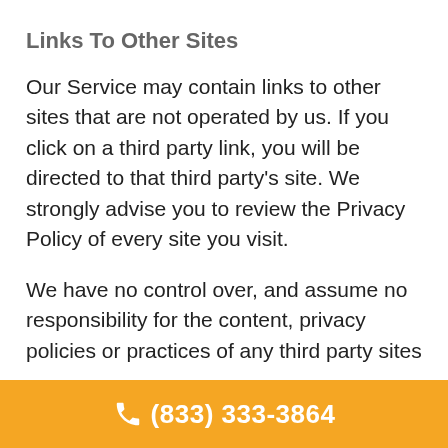Links To Other Sites
Our Service may contain links to other sites that are not operated by us. If you click on a third party link, you will be directed to that third party’s site. We strongly advise you to review the Privacy Policy of every site you visit.
We have no control over, and assume no responsibility for the content, privacy policies or practices of any third party sites
(833) 333-3864